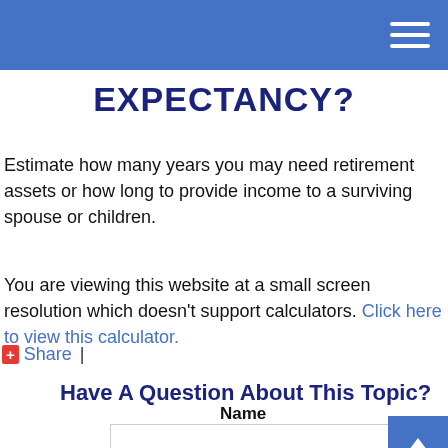EXPECTANCY?
EXPECTANCY?
Estimate how many years you may need retirement assets or how long to provide income to a surviving spouse or children.
You are viewing this website at a small screen resolution which doesn't support calculators. Click here to view this calculator.
+Share |
Have A Question About This Topic?
Name